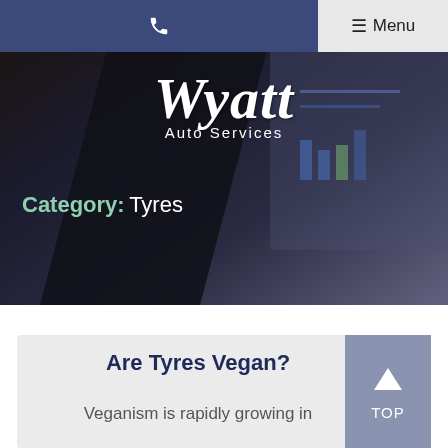☎  ≡ Menu
[Figure (screenshot): Dark hero background image showing a smartphone and documents on a table, with the Wyatt Auto Services logo overlaid in white serif italic font, and the category label 'Category: Tyres' in the lower left.]
Are Tyres Vegan?
Veganism is rapidly growing in